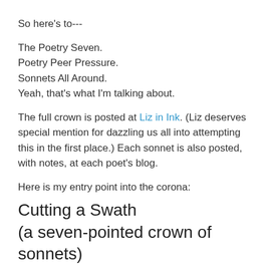So here's to---
The Poetry Seven.
Poetry Peer Pressure.
Sonnets All Around.
Yeah, that's what I'm talking about.
The full crown is posted at Liz in Ink. (Liz deserves special mention for dazzling us all into attempting this in the first place.) Each sonnet is also posted, with notes, at each poet's blog.
Here is my entry point into the corona:
Cutting a Swath
(a seven-pointed crown of sonnets)
#1
As shoes untied, you drag frayed words in trail
Behind your name: unlooped, they flop up